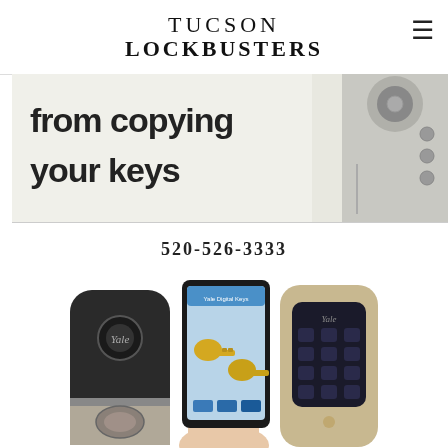TUCSON LOCKBUSTERS
[Figure (photo): Banner image with text 'from copying your keys' and a key image on the right side, light grey/white background]
520-526-3333
[Figure (photo): Product photo showing Yale smart locks: a dark deadbolt lock on the left, a smartphone in a hand displaying the Yale Digital Keys app with golden keys on screen, and a champagne/gold colored Yale keypad lock on the right]